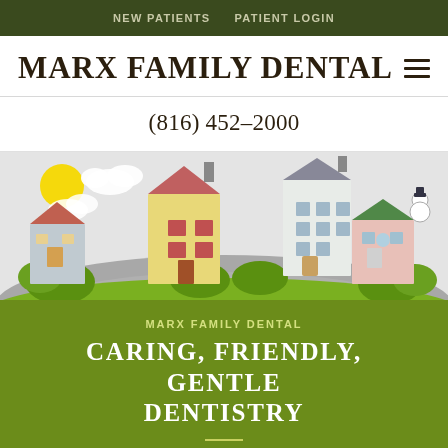NEW PATIENTS  PATIENT LOGIN
MARX FAMILY DENTAL
(816) 452-2000
[Figure (illustration): Colorful cartoon illustration of a neighborhood with several houses of different colors (blue, yellow, white, pink) arranged on a curved street/hill, with a bright yellow sun and white clouds in a light gray sky, and green bushes/trees at the bottom.]
MARX FAMILY DENTAL
CARING, FRIENDLY, GENTLE DENTISTRY
When you visit Marx Family Dental, you will experience all